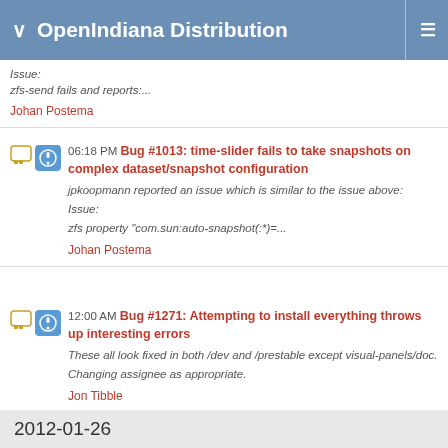OpenIndiana Distribution
Issue:
zfs-send fails and reports:...
Johan Postema
06:18 PM Bug #1013: time-slider fails to take snapshots on complex dataset/snapshot configuration
jpkoopmann reported an issue which is similar to the issue above:
Issue:
zfs property "com.sun:auto-snapshot(:*)=...
Johan Postema
12:00 AM Bug #1271: Attempting to install everything throws up interesting errors
These all look fixed in both /dev and /prestable except visual-panels/doc.
Changing assignee as appropriate.
Jon Tibble
2012-01-26